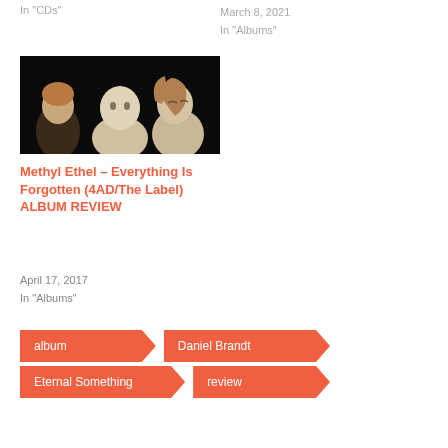In 'CDs'
March 8, 2021
In 'Albums'
[Figure (photo): Three pale figures against a dark background, appearing as sculptures or painted figures — two in front and one slightly behind]
Methyl Ethel – Everything Is Forgotten (4AD/The Label) ALBUM REVIEW
April 17, 2017
In 'Albums'
album
Daniel Brandt
Eternal Something
review